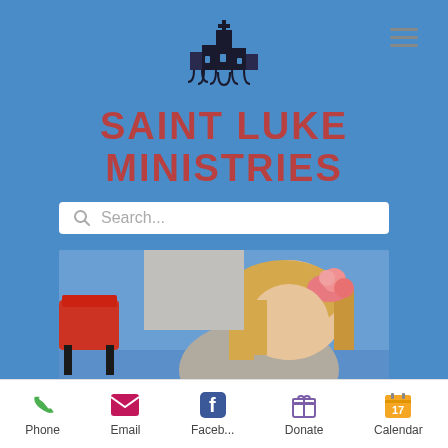[Figure (logo): Saint Luke Ministries church building logo in dark navy/black]
SAINT LUKE MINISTRIES
[Figure (screenshot): Search bar with magnifying glass icon and placeholder text 'Search...']
[Figure (photo): Photo of a young blonde girl wearing a pink floral headband and grey sweater, looking down at something. Red chairs visible in background, blue floor.]
Phone  Email  Faceb...  Donate  Calendar